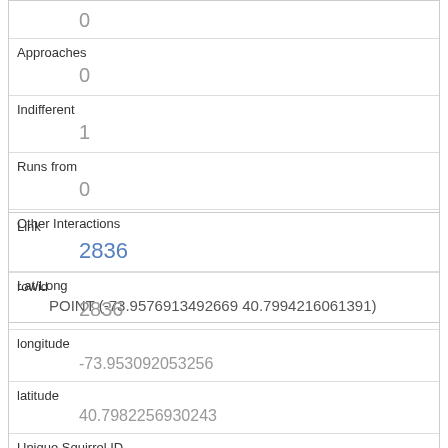| 0 |
| Approaches | 0 |
| Indifferent | 1 |
| Runs from | 0 |
| Other Interactions |  |
| Lat/Long | POINT (-73.9576913492669 40.7994216061391) |
| Link | 2836 |
| rowid | 2836 |
| longitude | -73.953092053256 |
| latitude | 40.7982256930243 |
| Unique Squirrel ID |  |